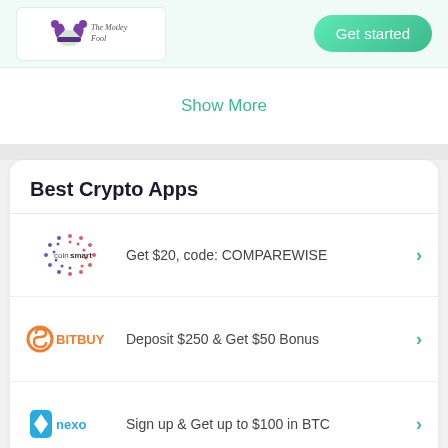The Motley Fool | Get started
Show More
Best Crypto Apps
coinsmart — Get $20, code: COMPAREWISE
BITBUY — Deposit $250 & Get $50 Bonus
nexo — Sign up & Get up to $100 in BTC